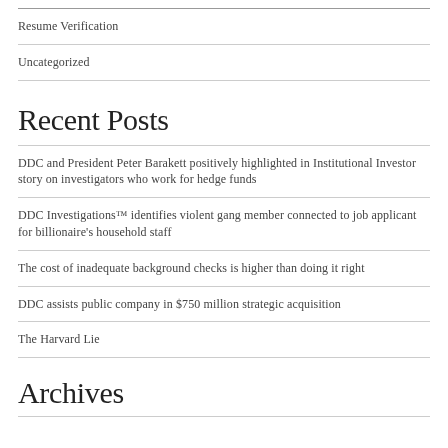Resume Verification
Uncategorized
Recent Posts
DDC and President Peter Barakett positively highlighted in Institutional Investor story on investigators who work for hedge funds
DDC Investigations™ identifies violent gang member connected to job applicant for billionaire's household staff
The cost of inadequate background checks is higher than doing it right
DDC assists public company in $750 million strategic acquisition
The Harvard Lie
Archives